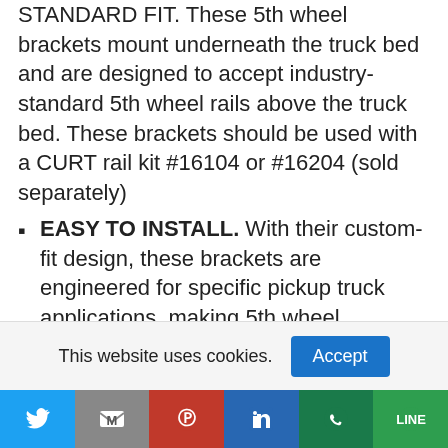STANDARD FIT. These 5th wheel brackets mount underneath the truck bed and are designed to accept industry-standard 5th wheel rails above the truck bed. These brackets should be used with a CURT rail kit #16104 or #16204 (sold separately)
EASY TO INSTALL. With their custom-fit design, these brackets are engineered for specific pickup truck applications, making 5th wheel installation faster, easier and more secure
CORROSION-RESISTANT. For long-lasting resistance to rain, snow, mud, road salt and
This website uses cookies.
Accept